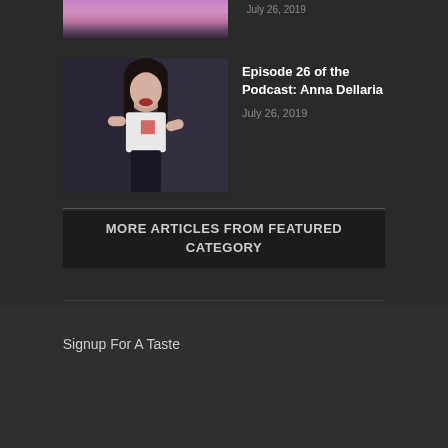[Figure (photo): Partially visible top photo of a person with pink/purple hair, cropped at top of frame]
July 26, 2019
[Figure (photo): Photo of a young woman with dark hair wearing a white t-shirt with a red graphic, posing against a dark background]
Episode 26 of the Podcast: Anna Dellaria
July 26, 2019
MORE ARTICLES FROM FEATURED CATEGORY
Signup For A Taste